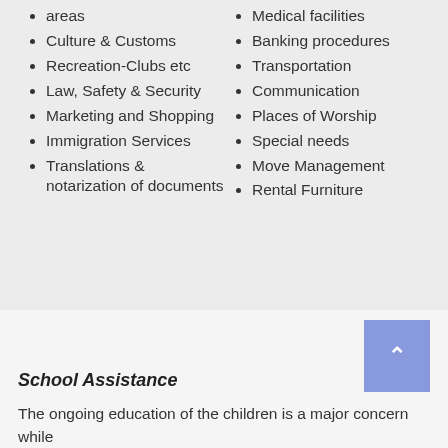areas
Culture & Customs
Recreation-Clubs etc
Law, Safety & Security
Marketing and Shopping
Immigration Services
Translations & notarization of documents
Medical facilities
Banking procedures
Transportation
Communication
Places of Worship
Special needs
Move Management
Rental Furniture
School Assistance
The ongoing education of the children is a major concern while